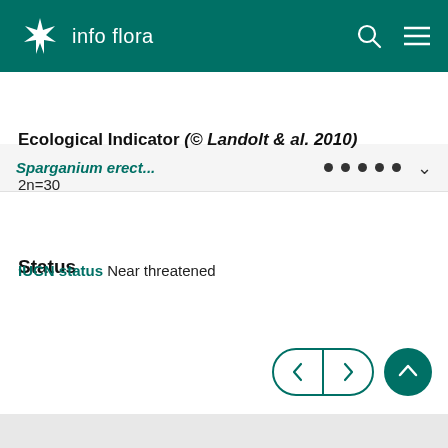info flora
Sparganium erect...
Ecological Indicator (© Landolt & al. 2010)
2n=30
Status
IUCN status Near threatened